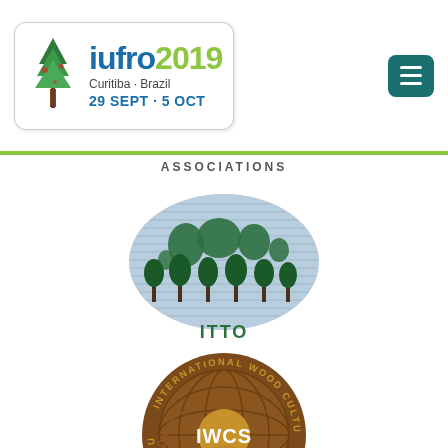[Figure (logo): IUFRO 2019 Curitiba Brazil 29 Sept - 5 Oct logo with tree illustration and menu button]
ASSOCIATIONS
[Figure (logo): ITTO logo - oval shaped with world map, trees, and ITTO text]
[Figure (logo): IWCS International Wood Culture Society circular logo with globe]
[Figure (logo): Partial Wood is Good logo at bottom]